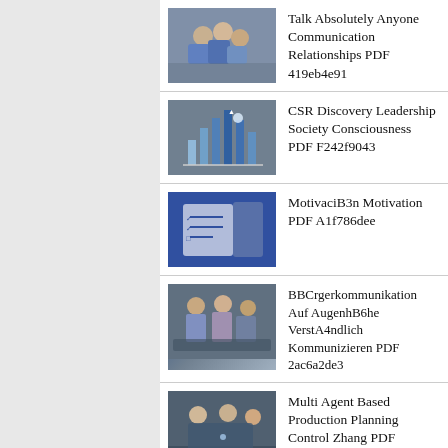Talk Absolutely Anyone Communication Relationships PDF 419eb4e91
CSR Discovery Leadership Society Consciousness PDF F242f9043
MotivaciB3n Motivation PDF A1f786dee
BBCrgerkommunikation Auf AugenhB6he VerstA4ndlich Kommunizieren PDF 2ac6a2de3
Multi Agent Based Production Planning Control Zhang PDF F25eef1b0
Mean Men Perversion Americas Self Made PDF 3ebc90ac0